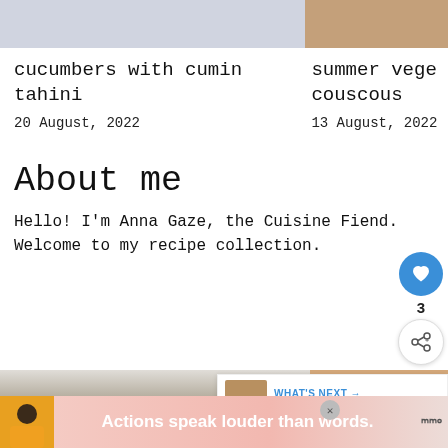[Figure (photo): Top portion of two food photos side by side: left shows a white bowl/plate on light surface, right shows bread/baked food on dark surface]
cucumbers with cumin tahini
20 August, 2022
summer vege couscous
13 August, 2022
About me
Hello! I'm Anna Gaze, the Cuisine Fiend. Welcome to my recipe collection.
[Figure (photo): Partial photo of a person with blonde/light brown hair, partially visible]
WHAT'S NEXT → cider and apple bread
Actions speak louder than words.